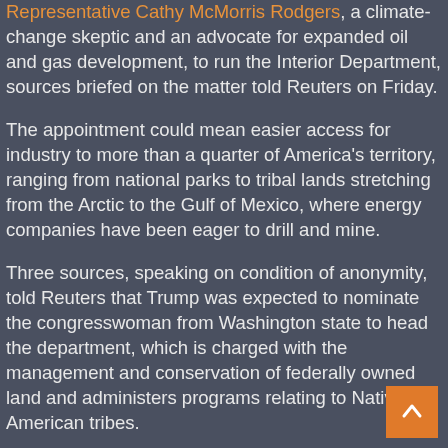Representative Cathy McMorris Rodgers, a climate-change skeptic and an advocate for expanded oil and gas development, to run the Interior Department, sources briefed on the matter told Reuters on Friday.
The appointment could mean easier access for industry to more than a quarter of America's territory, ranging from national parks to tribal lands stretching from the Arctic to the Gulf of Mexico, where energy companies have been eager to drill and mine.
Three sources, speaking on condition of anonymity, told Reuters that Trump was expected to nominate the congresswoman from Washington state to head the department, which is charged with the management and conservation of federally owned land and administers programs relating to Native American tribes.
The pick dovetails neatly with the Republican president-elect's promises to bolster the U.S. energy industry by shrinking the powers of the federal government. It follows his nomination this week of an anti-regulation climate-change skeptic, Oklahoma Attorney General Scott Pruitt, to run the Environmental